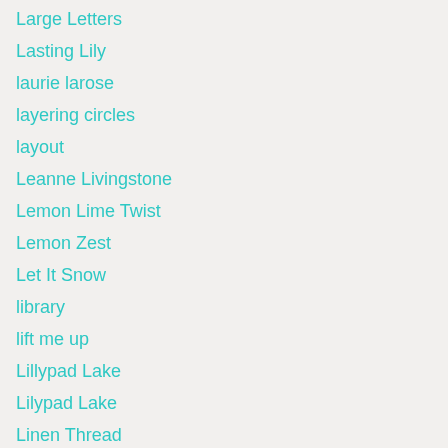Large Letters
Lasting Lily
laurie larose
layering circles
layout
Leanne Livingstone
Lemon Lime Twist
Lemon Zest
Let It Snow
library
lift me up
Lillypad Lake
Lilypad Lake
Linen Thread